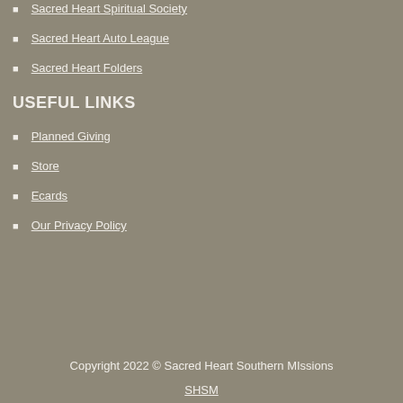Sacred Heart Spiritual Society
Sacred Heart Auto League
Sacred Heart Folders
USEFUL LINKS
Planned Giving
Store
Ecards
Our Privacy Policy
Copyright 2022 © Sacred Heart Southern MIssions
SHSM